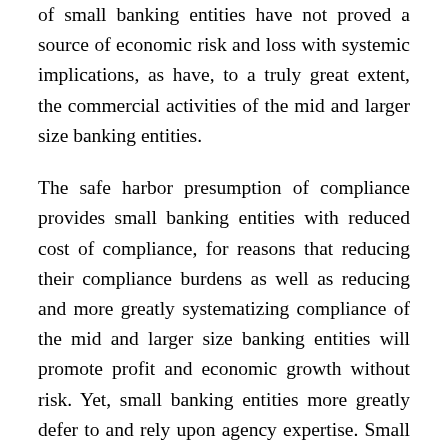of small banking entities have not proved a source of economic risk and loss with systemic implications, as have, to a truly great extent, the commercial activities of the mid and larger size banking entities.
The safe harbor presumption of compliance provides small banking entities with reduced cost of compliance, for reasons that reducing their compliance burdens as well as reducing and more greatly systematizing compliance of the mid and larger size banking entities will promote profit and economic growth without risk. Yet, small banking entities more greatly defer to and rely upon agency expertise. Small entities have reduced access to the information gleaned from periodic compliance as well as the due diligence periodic compliance requires. The Agencies should supplement